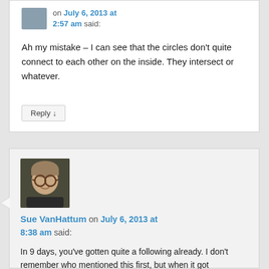on July 6, 2013 at 2:57 am said:
Ah my mistake – I can see that the circles don't quite connect to each other on the inside. They intersect or whatever.
Reply ↓
[Figure (photo): Avatar photo of Sue VanHattum, a woman with glasses smiling]
Sue VanHattum on July 6, 2013 at 8:38 am said:
In 9 days, you've gotten quite a following already. I don't remember who mentioned this first, but when it got mentioned again, and I got